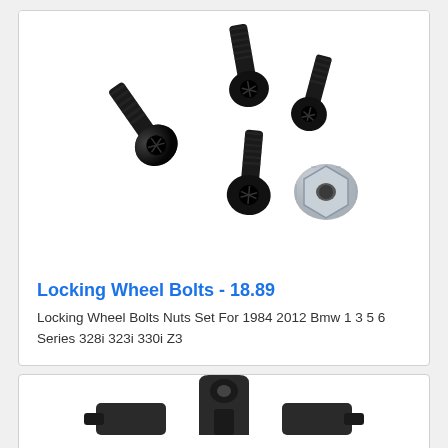[Figure (photo): Four black locking wheel bolts with threaded shafts and a silver locking nut key adapter, arranged on a white background.]
Locking Wheel Bolts - 18.89
Locking Wheel Bolts Nuts Set For 1984 2012 Bmw 1 3 5 6 Series 328i 323i 330i Z3
[Figure (photo): Partial view of black wheel bolt lock keys/adapters on a white background, partially visible at the bottom of the page.]